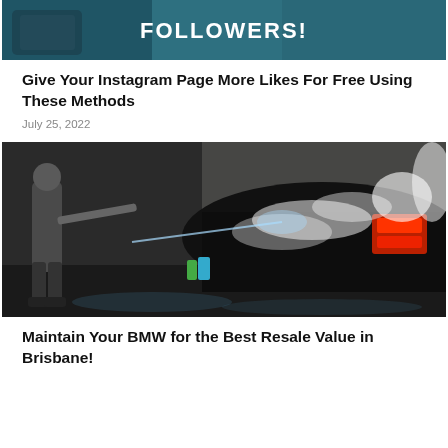[Figure (photo): Instagram followers promotional image with text FOLLOWERS! on a dark teal background, hand holding a phone]
Give Your Instagram Page More Likes For Free Using These Methods
July 25, 2022
[Figure (photo): Person pressure washing a black car covered in soap suds at a car wash, holding a spray lance]
Maintain Your BMW for the Best Resale Value in Brisbane!